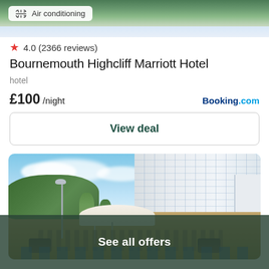[Figure (photo): Top portion of a hotel photo showing beach/coastal view with greenery]
Air conditioning
4.0 (2366 reviews)
Bournemouth Highcliff Marriott Hotel
hotel
£100 /night
Booking.com
View deal
[Figure (photo): Photo of Bournemouth Highcliff Marriott Hotel exterior showing outdoor terrace with umbrella, palm trees, and modern glass building facade]
See all offers